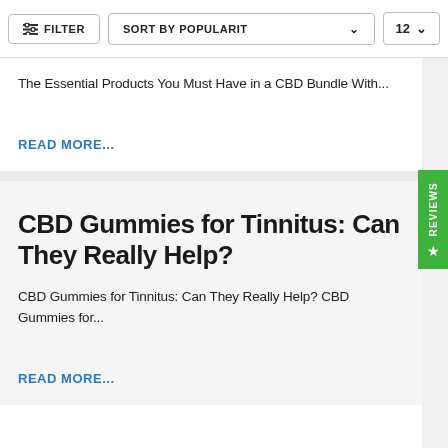FILTER | SORT BY POPULARITY | 12
The Essential Products You Must Have in a CBD Bundle With...
READ MORE...
CBD Gummies for Tinnitus: Can They Really Help?
CBD Gummies for Tinnitus: Can They Really Help? CBD Gummies for...
READ MORE...